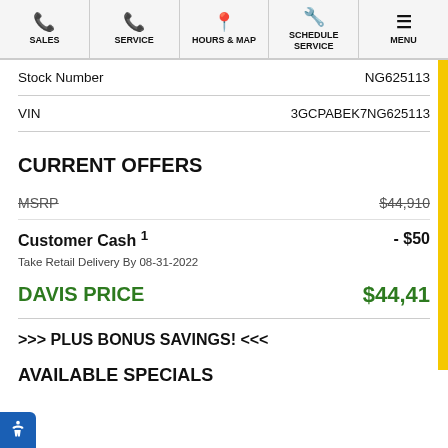SALES | SERVICE | HOURS & MAP | SCHEDULE SERVICE | MENU
|  |  |
| --- | --- |
| Stock Number | NG625113 |
| VIN | 3GCPABEK7NG625113 |
CURRENT OFFERS
|  |  |
| --- | --- |
| MSRP | $44,910 |
| Customer Cash ¹ | - $500 |
| Take Retail Delivery By 08-31-2022 |  |
| DAVIS PRICE | $44,41... |
>>> PLUS BONUS SAVINGS! <<<
AVAILABLE SPECIALS